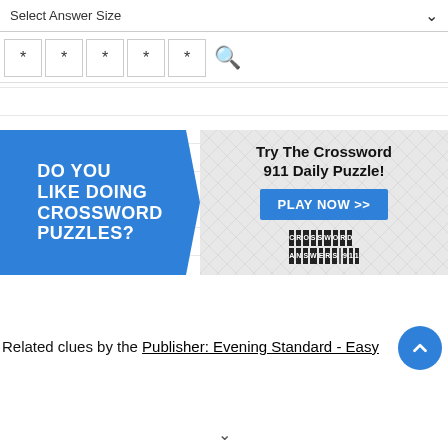Select Answer Size
* * * * *
[Figure (infographic): Crossword Answers 911 advertisement banner. Left side: blue background with white bold text 'DO YOU LIKE DOING CROSSWORD PUZZLES?'. Right side: grey crossword-tile background with text 'Try The Crossword 911 Daily Puzzle!', a blue 'PLAY NOW >>' button, and the CROSSWORD ANSWERS 911 logo in tile-style letters.]
Related clues by the Publisher: Evening Standard - Easy